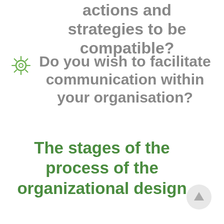actions and strategies to be compatible?
Do you wish to facilitate communication within your organisation?
The stages of the process of the organizational design